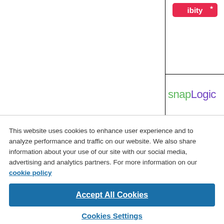[Figure (screenshot): Partial view of a comparison table showing logos: ibity (red/pink logo, top right cell) and SnapLogic (green and purple text logo, bottom right cell), with table grid lines visible.]
This website uses cookies to enhance user experience and to analyze performance and traffic on our website. We also share information about your use of our site with our social media, advertising and analytics partners. For more information on our cookie policy
Accept All Cookies
Cookies Settings